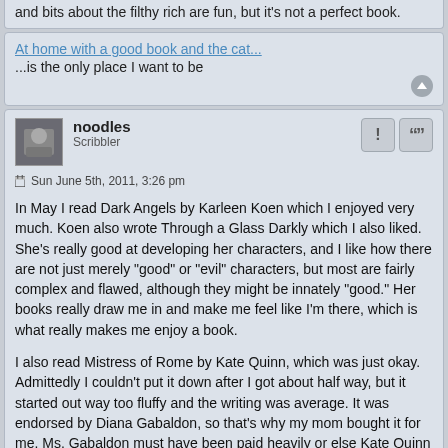and bits about the filthy rich are fun, but it's not a perfect book.
At home with a good book and the cat...
...is the only place I want to be
noodles
Scribbler
Sun June 5th, 2011, 3:26 pm
In May I read Dark Angels by Karleen Koen which I enjoyed very much. Koen also wrote Through a Glass Darkly which I also liked. She's really good at developing her characters, and I like how there are not just merely "good" or "evil" characters, but most are fairly complex and flawed, although they might be innately "good." Her books really draw me in and make me feel like I'm there, which is what really makes me enjoy a book.
I also read Mistress of Rome by Kate Quinn, which was just okay. Admittedly I couldn't put it down after I got about half way, but it started out way too fluffy and the writing was average. It was endorsed by Diana Gabaldon, so that's why my mom bought it for me. Ms. Gabaldon must have been paid heavily or else Kate Quinn is a buddy!
MLE (Emily Cotton)